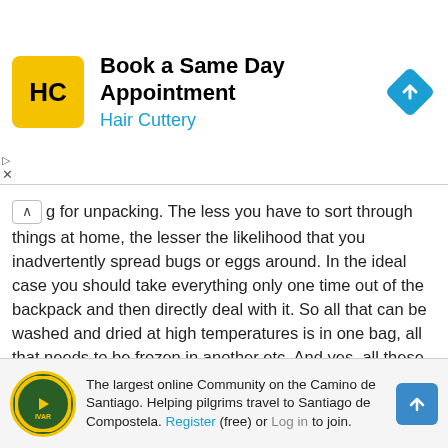[Figure (other): Hair Cuttery advertisement banner. Logo: yellow square with HC text. Headline: 'Book a Same Day Appointment'. Subline: 'Hair Cuttery'. Blue navigation/map icon on right.]
g for unpacking. The less you have to sort through things at home, the lesser the likelihood that you inadvertently spread bugs or eggs around. In the ideal case you should take everything only one time out of the backpack and then directly deal with it. So all that can be washed and dried at high temperatures is in one bag, all that needs to be frozen in another etc. And yes, all these are double packed. (Explanation later) Some things can't be packed that easily as they need to be at hand during travel (passport, boarding passes etc.) but the more organized your stuff is the easier is the job at home.
On arrival at home
[Figure (logo): Ivar/Casa Ivar logo: circular green badge with yellow border and arrow. Text: 'The largest online Community on the Camino de Santiago. Helping pilgrims travel to Santiago de Compostela. Register (free) or Log in to join.']